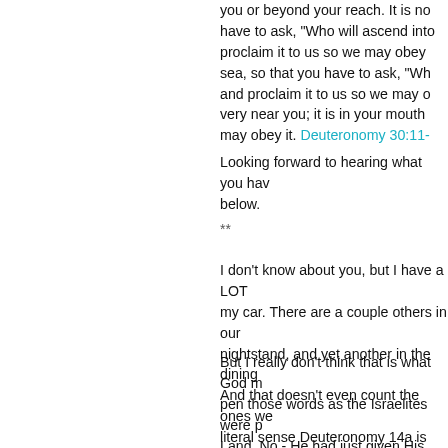you or beyond your reach. It is no have to ask, "Who will ascend into proclaim it to us so we may obey sea, so that you have to ask, "Wh and proclaim it to us so we may o very near you; it is in your mouth may obey it. Deuteronomy 30:11-
Looking forward to hearing what you hav below.
**
I don't know about you, but I have a LOT my car. There are a couple others in our nightstand, and yet another in the dining And that doesn't even count the ones we literal sense Deuteronomy 14a is true fo
But I really don't think that is what God m pen those words as the Israelites were p Land. No - He had just given His people canon that would eventually become the out of their mouths, and live in their hear